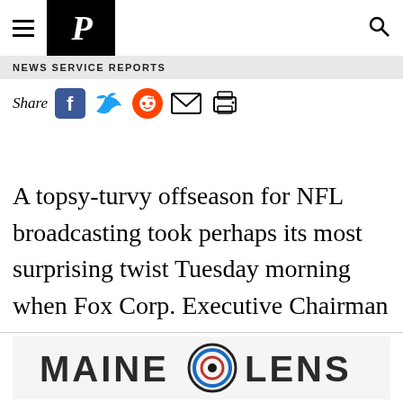P (Portland Press Herald logo)
NEWS SERVICE REPORTS
Share (social icons: Facebook, Twitter, Reddit, Email, Print)
A topsy-turvy offseason for NFL broadcasting took perhaps its most surprising twist Tuesday morning when Fox Corp. Executive Chairman Lachlan Murdoch announced that Tom Brady will step into the network’s booth when the winningest quarterback of all time retires.
[Figure (logo): Maine Lens advertisement banner with logo]